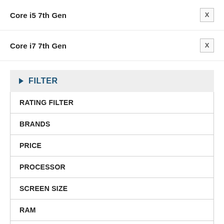Core i5 7th Gen
Core i7 7th Gen
FILTER
RATING FILTER
BRANDS
PRICE
PROCESSOR
SCREEN SIZE
RAM
HARD DISK DRIVE (STORAGE)
GRAPHIC MEMORY